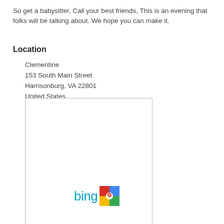So get a babysitter, Call your best friends, This is an evening that folks will be talking about. We hope you can make it.
Location
Clementine
153 South Main Street
Harrisonburg, VA 22801
United States
[Figure (map): Embedded map placeholder showing location of Clementine at 153 South Main Street, Harrisonburg, VA 22801]
[Figure (logo): Bing and Google Maps logos side by side]